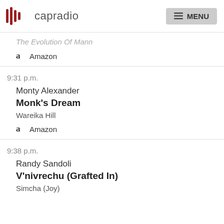capradio  MENU
The Evolution Of Mann
Amazon
9:31 p.m.
Monty Alexander
Monk's Dream
Wareika Hill
Amazon
9:38 p.m.
Randy Sandoli
V'nivrechu (Grafted In)
Simcha (Joy)